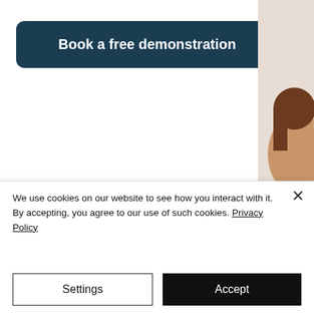[Figure (other): Dark teal rounded rectangle button labeled 'Book a free demonstration' on a white background, with a partial photo of a person on the right side]
We use cookies on our website to see how you interact with it. By accepting, you agree to our use of such cookies. Privacy Policy
[Figure (other): Settings button (white background, black border) and Accept button (black background, white text) side by side in a cookie consent banner]